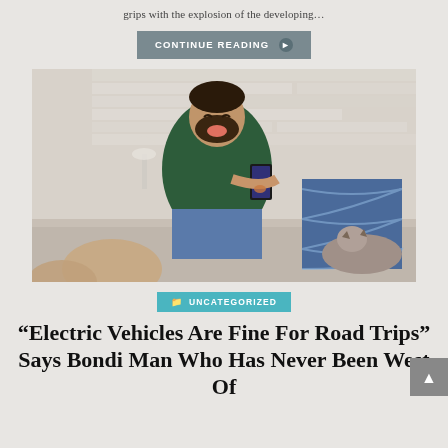grips with the explosion of the developing…
CONTINUE READING ▶
[Figure (photo): A laughing bearded man sitting on a couch holding a wine glass in one hand and a smartphone in the other, with bare feet up, blue patterned pillow behind him, and a cat resting nearby. White brick-like wall in the background.]
UNCATEGORIZED
“Electric Vehicles Are Fine For Road Trips” Says Bondi Man Who Has Never Been West Of